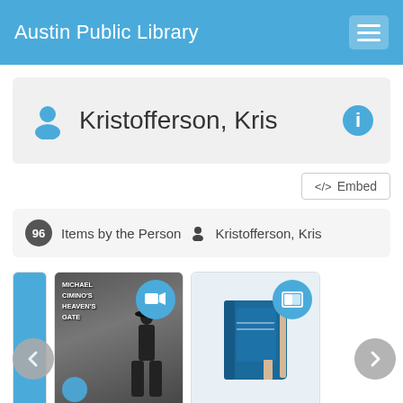Austin Public Library
Kristofferson, Kris
</>  Embed
96  Items by the Person   Kristofferson, Kris
[Figure (screenshot): Book cover for Heaven's gate, Metro Goldwyn with a video camera badge icon]
Heaven's gate, Metro Goldwyn
[Figure (illustration): Book icon cover for Pocket Cash: Johnny Cash, by with a book badge icon]
Pocket Cash : Johnny Cash, by